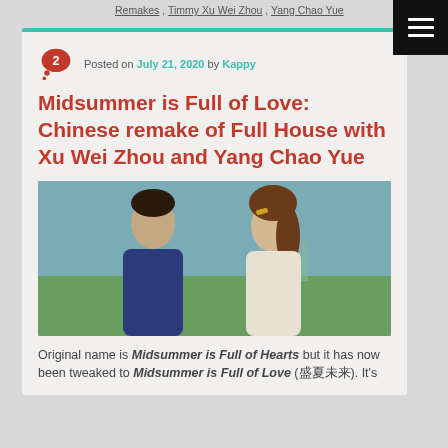Remakes , Timmy Xu Wei Zhou , Yang Chao Yue
Posted on July 21, 2020 by Kappy
Midsummer is Full of Love: Chinese remake of Full House with Xu Wei Zhou and Yang Chao Yue
[Figure (photo): Two people facing each other in an outdoor setting, a young man on the left and a young woman with a hair clip on the right, green landscape in background]
Original name is Midsummer is Full of Hearts but it has now been tweaked to Midsummer is Full of Love (盛夏未来). It's